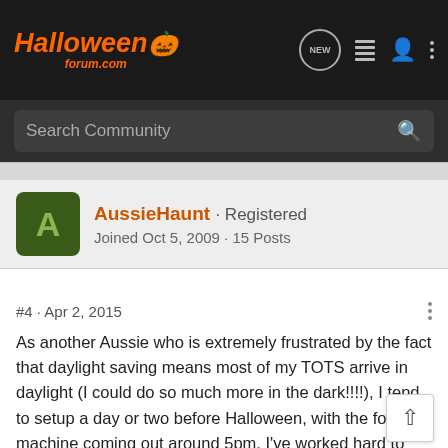HalloweenForum.com — Navigation bar with logo, NEW, list, user, and menu icons
Search Community
AussieHaunt · Registered
Joined Oct 5, 2009 · 15 Posts
#4 · Apr 2, 2015
As another Aussie who is extremely frustrated by the fact that daylight saving means most of my TOTS arrive in daylight (I could do so much more in the dark!!!!), I tend to setup a day or two before Halloween, with the fog machine coming out around 5pm. I've worked hard to build a reputation for Halloween so that now people are coming from further afield just to see the crazy man with tombstones and a fog machine on his lawn, but I think it would take a huge effort to get people coming around in any numbers in my area anytime before Halloween evening.